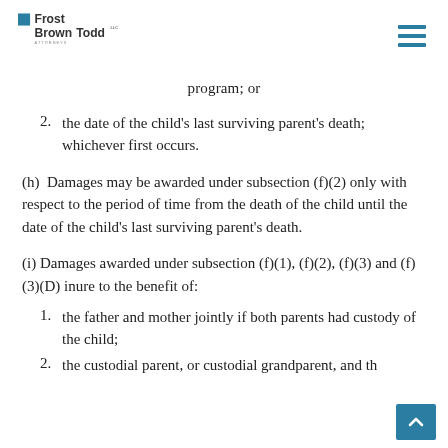Frost Brown Todd LLC Attorneys
program; or
2. the date of the child's last surviving parent's death; whichever first occurs.
(h) Damages may be awarded under subsection (f)(2) only with respect to the period of time from the death of the child until the date of the child's last surviving parent's death.
(i) Damages awarded under subsection (f)(1), (f)(2), (f)(3) and (f)(3)(D) inure to the benefit of:
1. the father and mother jointly if both parents had custody of the child;
2. the custodial parent, or custodial grandparent, and th...